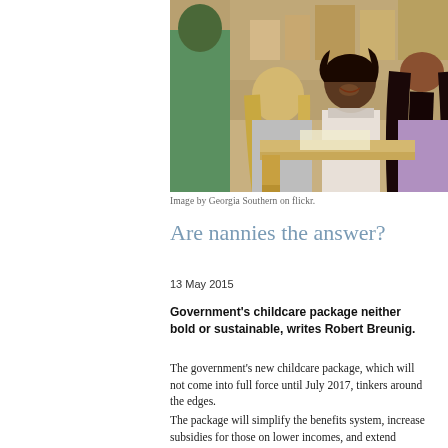[Figure (photo): A teacher or childcare worker smiling and interacting with two children in a classroom setting. One child has blonde hair, another has dark long hair wearing a purple dress. Classroom furniture and supplies visible in background.]
Image by Georgia Southern on flickr.
Are nannies the answer?
13 May 2015
Government's childcare package neither bold or sustainable, writes Robert Breunig.
The government's new childcare package, which will not come into full force until July 2017, tinkers around the edges.
The package will simplify the benefits system, increase subsidies for those on lower incomes, and extend subsidies to include nannies. Subsidies are now linked to "benchmark" prices